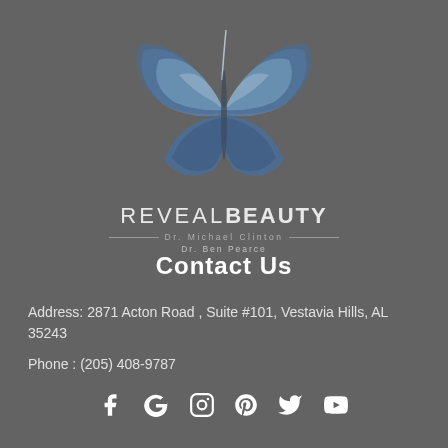[Figure (logo): Reveal Beauty logo with blue butterfly illustration above the brand name. Brand name reads REVEAL BEAUTY with Dr. Michael Clinton and Dr. Ben Pearce listed below with decorative horizontal lines.]
Contact Us
Address: 2871 Acton Road , Suite #101, Vestavia Hills, AL 35243
Phone : (205) 408-9787
[Figure (infographic): Row of social media icons: Facebook, Google, Instagram, Pinterest, Twitter/X, YouTube]